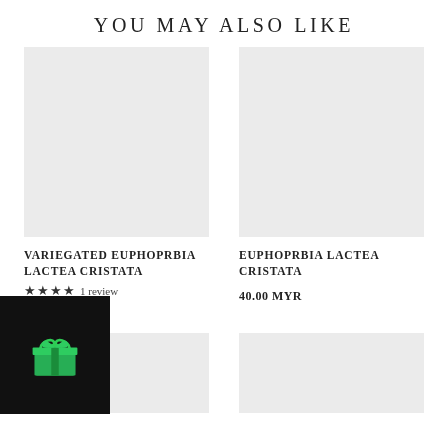YOU MAY ALSO LIKE
[Figure (photo): Empty light gray product image placeholder for Variegated Euphoprbia Lactea Cristata]
VARIEGATED EUPHOPRBIA LACTEA CRISTATA
★★★★ 1 review
0 MYR
[Figure (photo): Empty light gray product image placeholder for Euphoprbia Lactea Cristata]
EUPHOPRBIA LACTEA CRISTATA
40.00 MYR
[Figure (photo): Empty light gray product image placeholder, bottom left]
[Figure (photo): Empty light gray product image placeholder, bottom right]